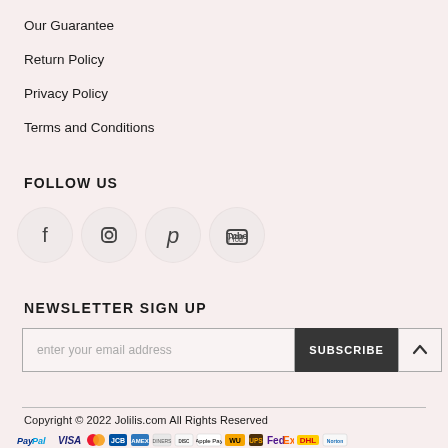Our Guarantee
Return Policy
Privacy Policy
Terms and Conditions
FOLLOW US
[Figure (illustration): Four social media icons in white circles: Facebook, Instagram, Pinterest, YouTube]
NEWSLETTER SIGN UP
enter your email address
SUBSCRIBE
Copyright © 2022 Jolilis.com All Rights Reserved
[Figure (logo): Payment method logos: PayPal, VISA, Mastercard, JCB, American Express, Diners Club, Discover, Apple Pay, Western Union, UPS, FedEx, DHL, Norton Secured]